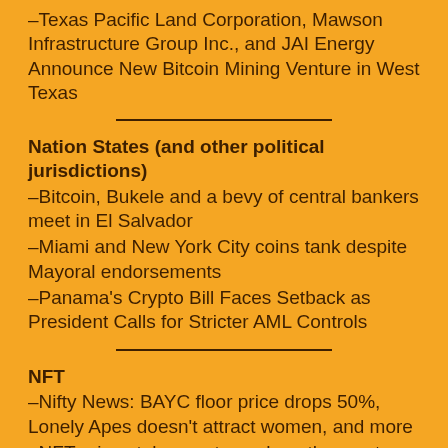–Texas Pacific Land Corporation, Mawson Infrastructure Group Inc., and JAI Energy Announce New Bitcoin Mining Venture in West Texas
Nation States (and other political jurisdictions)
–Bitcoin, Bukele and a bevy of central bankers meet in El Salvador
–Miami and New York City coins tank despite Mayoral endorsements
–Panama's Crypto Bill Faces Setback as President Calls for Stricter AML Controls
NFT
–Nifty News: BAYC floor price drops 50%, Lonely Apes doesn't attract women, and more
–NFT prices take a gut punch as the crypto bear market deepens
–Spotify reportedly tests NFT galleries on musician profiles